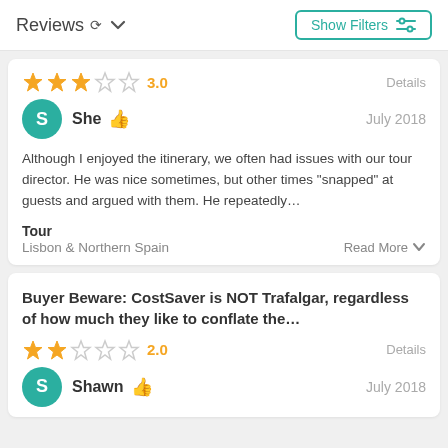Reviews  Show Filters
3.0  Details
She  July 2018
Although I enjoyed the itinerary, we often had issues with our tour director. He was nice sometimes, but other times "snapped" at guests and argued with them. He repeatedly…
Tour
Lisbon & Northern Spain  Read More
Buyer Beware: CostSaver is NOT Trafalgar, regardless of how much they like to conflate the…
2.0  Details
Shawn  July 2018